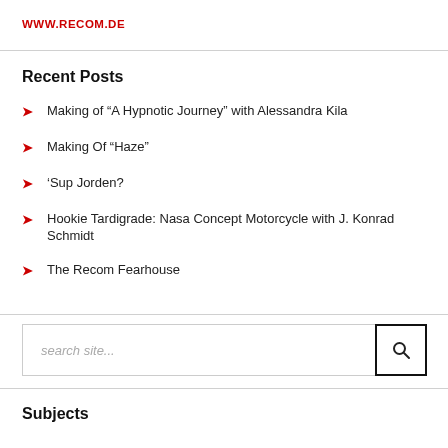WWW.RECOM.DE
Recent Posts
Making of “A Hypnotic Journey” with Alessandra Kila
Making Of “Haze”
‘Sup Jorden?
Hookie Tardigrade: Nasa Concept Motorcycle with J. Konrad Schmidt
The Recom Fearhouse
Subjects